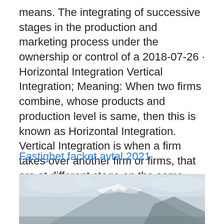means. The integrating of successive stages in the production and marketing process under the ownership or control of a 2018-07-26 · Horizontal Integration Vertical Integration; Meaning: When two firms combine, whose products and production level is same, then this is known as Horizontal Integration. Vertical Integration is when a firm takes over another firm or firms, that are at different stage on the same production path.
Fastighet facket avtal 2021
[Figure (photo): A snow-capped mountain peak against an overcast sky, with white snow covering the slopes and some dark rocky outcroppings and trees visible at lower elevations.]